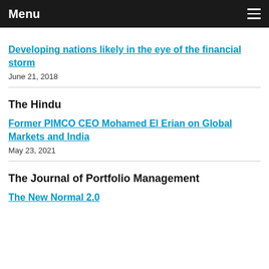Menu
Developing nations likely in the eye of the financial storm
June 21, 2018
The Hindu
Former PIMCO CEO Mohamed El Erian on Global Markets and India
May 23, 2021
The Journal of Portfolio Management
The New Normal 2.0